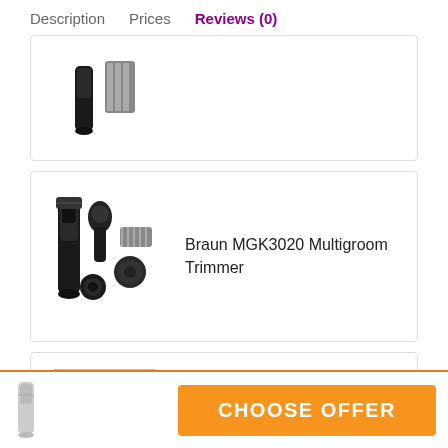Description   Prices   Reviews (0)
[Figure (photo): Partial product image cropped at top - hair trimmer with comb attachment]
[Figure (photo): Braun MGK3020 Multigroom Trimmer product image showing trimmer and multiple attachments in black]
Braun MGK3020 Multigroom Trimmer
[Figure (photo): No image available placeholder with Amazon smile logo]
Philips NT1120 Nose and Ear trimmer
[Figure (photo): Small product image at bottom bar]
CHOOSE OFFER